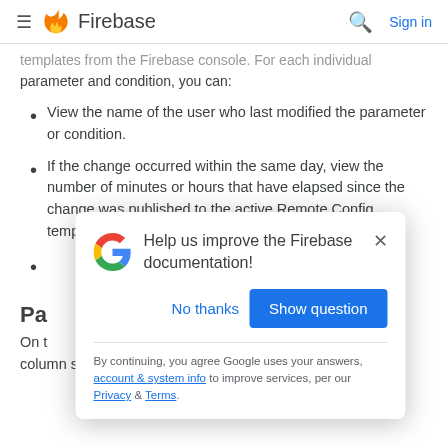Firebase
templates from the Firebase console. For each individual parameter and condition, you can:
View the name of the user who last modified the parameter or condition.
If the change occurred within the same day, view the number of minutes or hours that have elapsed since the change was published to the active Remote Config template.
[partially obscured by modal] ...the last user who modified the parameter or condition
Par[tially obscured]
On t[he ...]hed column shows the last user who modified each parameter
[Figure (screenshot): Google feedback modal dialog: 'Help us improve the Firebase documentation!' with No thanks and Show question buttons, and a privacy disclaimer footer.]